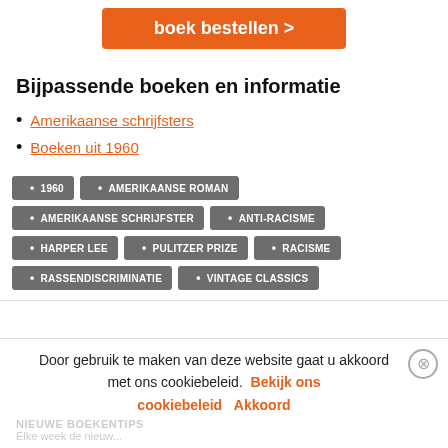[Figure (other): Orange 'boek bestellen >' button]
Bijpassende boeken en informatie
Amerikaanse schrijfsters
Boeken uit 1960
Tags: 1960 • AMERIKAANSE ROMAN • AMERIKAANSE SCHRIJFSTER • ANTI-RACISME • HARPER LEE • PULITZER PRIZE • RACISME • RASSENDISCRIMINATIE • VINTAGE CLASSICS
Door gebruik te maken van deze website gaat u akkoord met ons cookiebeleid. Bekijk ons cookiebeleid  Akkoord
NIEUWE BOEKENTIPS
Elke week de nieuw...